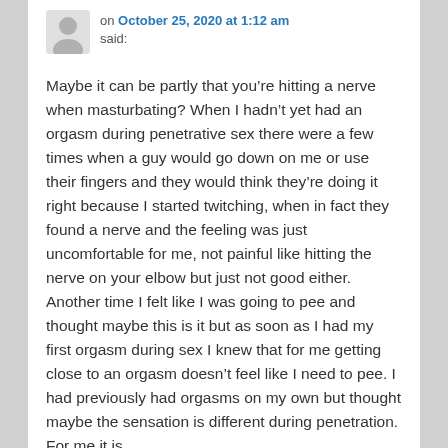[Figure (illustration): Generic user avatar silhouette icon in gray]
on October 25, 2020 at 1:12 am said:
Maybe it can be partly that you’re hitting a nerve when masturbating? When I hadn’t yet had an orgasm during penetrative sex there were a few times when a guy would go down on me or use their fingers and they would think they’re doing it right because I started twitching, when in fact they found a nerve and the feeling was just uncomfortable for me, not painful like hitting the nerve on your elbow but just not good either. Another time I felt like I was going to pee and thought maybe this is it but as soon as I had my first orgasm during sex I knew that for me getting close to an orgasm doesn’t feel like I need to pee. I had previously had orgasms on my own but thought maybe the sensation is different during penetration. For me it is